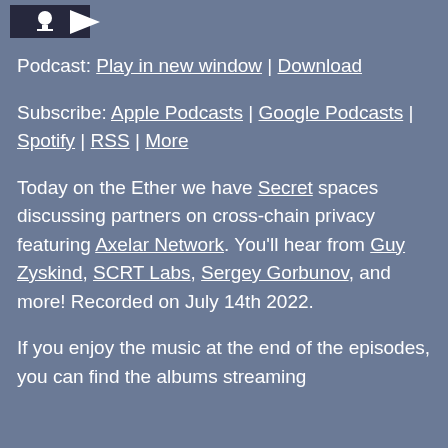[Figure (logo): Podcast logo with microphone icon, partially visible at top left]
Podcast: Play in new window | Download
Subscribe: Apple Podcasts | Google Podcasts | Spotify | RSS | More
Today on the Ether we have Secret spaces discussing partners on cross-chain privacy featuring Axelar Network. You'll hear from Guy Zyskind, SCRT Labs, Sergey Gorbunov, and more! Recorded on July 14th 2022.
If you enjoy the music at the end of the episodes, you can find the albums streaming